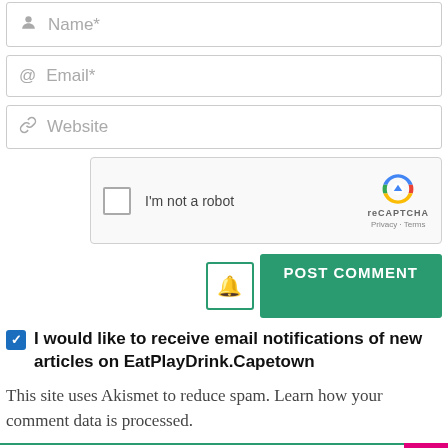Name*
Email*
Website
[Figure (other): reCAPTCHA widget with checkbox and 'I'm not a robot' label, reCAPTCHA logo, Privacy and Terms links]
POST COMMENT
I would like to receive email notifications of new articles on EatPlayDrink.Capetown
This site uses Akismet to reduce spam. Learn how your comment data is processed.
COMMENTS